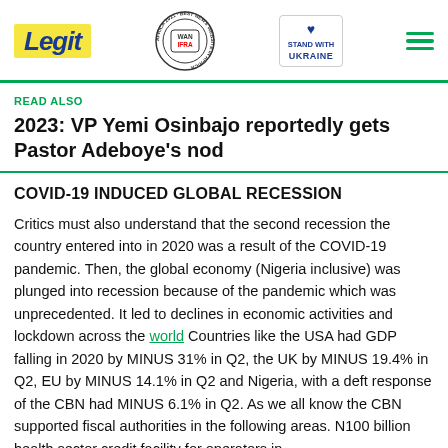Legit — WAN IFRA 2021 Best News Website in Africa — Stand with Ukraine
READ ALSO
2023: VP Yemi Osinbajo reportedly gets Pastor Adeboye's nod
COVID-19 INDUCED GLOBAL RECESSION
Critics must also understand that the second recession the country entered into in 2020 was a result of the COVID-19 pandemic. Then, the global economy (Nigeria inclusive) was plunged into recession because of the pandemic which was unprecedented. It led to declines in economic activities and lockdown across the world Countries like the USA had GDP falling in 2020 by MINUS 31% in Q2, the UK by MINUS 19.4% in Q2, EU by MINUS 14.1% in Q2 and Nigeria, with a deft response of the CBN had MINUS 6.1% in Q2. As we all know the CBN supported fiscal authorities in the following areas. N100 billion health sector credit facility for operators in